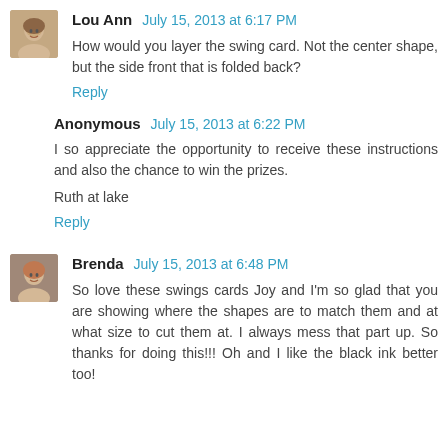Lou Ann  July 15, 2013 at 6:17 PM
How would you layer the swing card. Not the center shape, but the side front that is folded back?
Reply
Anonymous  July 15, 2013 at 6:22 PM
I so appreciate the opportunity to receive these instructions and also the chance to win the prizes.

Ruth at lake
Reply
Brenda  July 15, 2013 at 6:48 PM
So love these swings cards Joy and I'm so glad that you are showing where the shapes are to match them and at what size to cut them at. I always mess that part up. So thanks for doing this!!! Oh and I like the black ink better too!